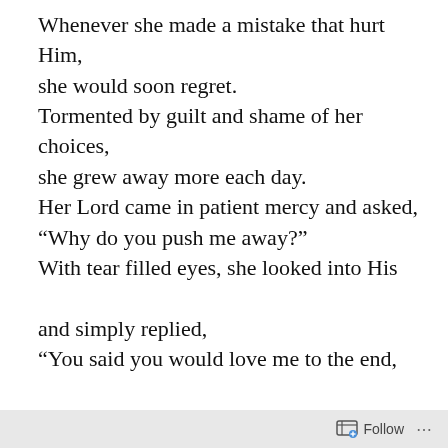Whenever she made a mistake that hurt Him, she would soon regret. Tormented by guilt and shame of her choices, she grew away more each day. Her Lord came in patient mercy and asked, “Why do you push me away?” With tear filled eyes, she looked into His and simply replied, “You said you would love me to the end, but one day I will die.” With concern He looked at her and reassured, “But that will keep us together.” “Yes,” she said, “If I had no sin in my life. But only Heaven and Hell are forever
Follow ...